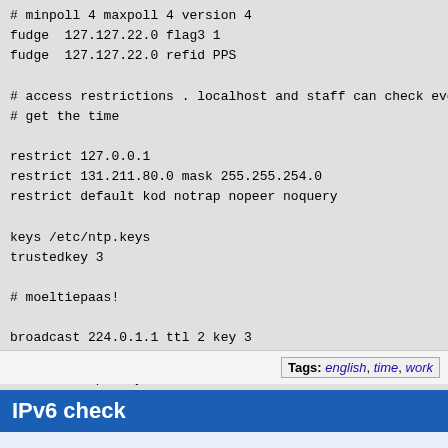# minpoll 4 maxpoll 4 version 4
fudge  127.127.22.0 flag3 1
fudge  127.127.22.0 refid PPS

# access restrictions . localhost and staff can check everyth
# get the time

restrict 127.0.0.1
restrict 131.211.80.0 mask 255.255.254.0
restrict default kod notrap nopeer noquery

keys /etc/ntp.keys
trustedkey 3

# moeltiepaas!

broadcast 224.0.1.1 ttl 2 key 3

# announce policy

setvar access_policy="experimental server not suitable for pr
Tags: english, time, work
IPv6 check
...